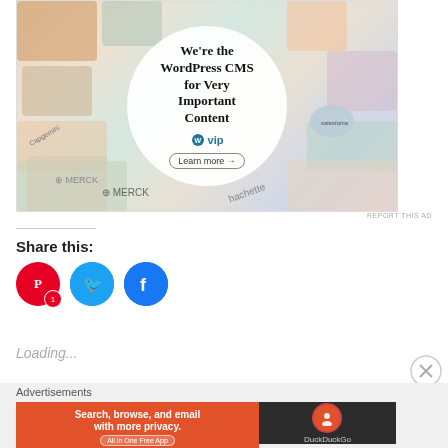[Figure (screenshot): WordPress VIP advertisement banner showing various brand logos/cards arranged around a central white circle containing text 'We're the WordPress CMS for Very Important Content' with WordPress VIP logo and 'Learn more' button]
REPORT THIS AD
Share this:
[Figure (infographic): Three social media share buttons: Pinterest (red circle with P icon and badge '1'), Twitter (blue circle with bird icon), Facebook (blue circle with f icon)]
Loading...
Advertisements
[Figure (screenshot): DuckDuckGo advertisement banner: orange left panel with text 'Search, browse, and email with more privacy.' and 'All in One Free App' button; dark right panel with DuckDuckGo logo and name]